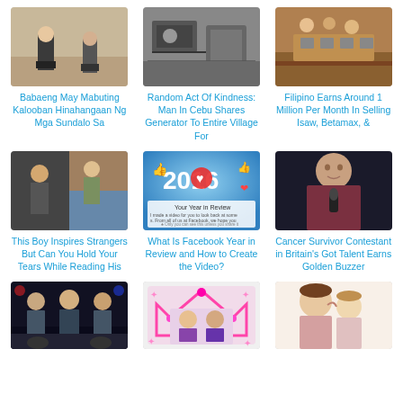[Figure (photo): People in hallway/floor scene]
Babaeng May Mabuting Kalooban Hinahangaan Ng Mga Sundalo Sa
[Figure (photo): Man with generator/electronics]
Random Act Of Kindness: Man In Cebu Shares Generator To Entire Village For
[Figure (photo): Filipino selling isaw betamax food]
Filipino Earns Around 1 Million Per Month In Selling Isaw, Betamax, &
[Figure (photo): Boy in crowd/strangers scene]
This Boy Inspires Strangers But Can You Hold Your Tears While Reading His
[Figure (photo): Facebook Year in Review 2016 graphic]
What Is Facebook Year in Review and How to Create the Video?
[Figure (photo): Young woman singing on stage with microphone]
Cancer Survivor Contestant in Britain's Got Talent Earns Golden Buzzer
[Figure (photo): Group of officers at night]
[Figure (photo): Pink crown photo frame with woman inside]
[Figure (photo): Mother kissing baby/toddler]